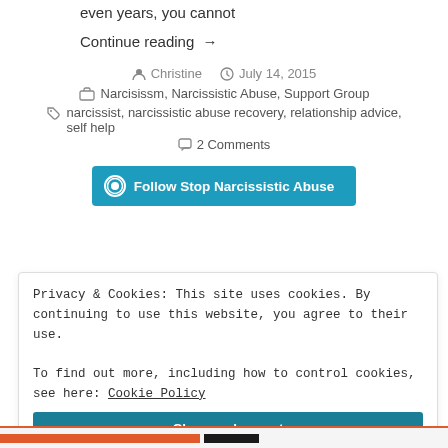even years, you cannot
Continue reading →
Christine   July 14, 2015
Narcisissm, Narcissistic Abuse, Support Group
narcissist, narcissistic abuse recovery, relationship advice, self help
2 Comments
Follow Stop Narcissistic Abuse
Privacy & Cookies: This site uses cookies. By continuing to use this website, you agree to their use.
To find out more, including how to control cookies, see here: Cookie Policy
Close and accept